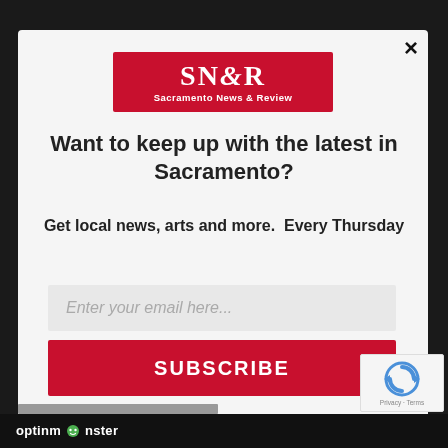[Figure (logo): SN&R Sacramento News & Review logo - red rectangle with white text]
Want to keep up with the latest in Sacramento?
Get local news, arts and more.  Every Thursday
Enter your email here...
SUBSCRIBE
optinmonster